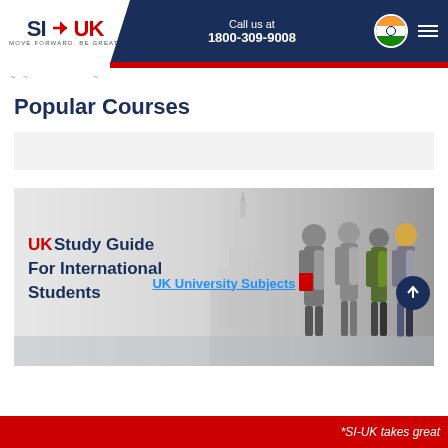SI-UK | Call us at 1800-309-9008
Popular Courses
UK University Subjects
[Figure (illustration): Banner image showing UK Study Guide For International Students text with students standing in front of a UK university building]
*SI-UK takes great